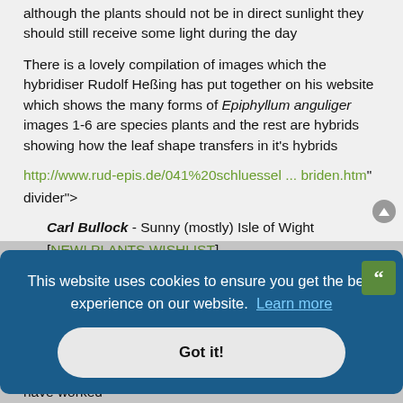although the plants should not be in direct sunlight they should still receive some light during the day
There is a lovely compilation of images which the hybridiser Rudolf Heßing has put together on his website which shows the many forms of Epiphyllum anguliger images 1-6 are species plants and the rest are hybrids showing how the leaf shape transfers in it's hybrids
http://www.rud-epis.de/041%20schluessel ... briden.htm" onclick="window.open(this.href);return false;
Carl Bullock - Sunny (mostly) Isle of Wight
[NEW! PLANTS WISHLIST]
[Epiphyllum, trade,sell, buy, open for all vendors!|Epiphyllum|Epicactus|Schlumbergera]
[Figure (screenshot): Cookie consent banner overlay with dark blue background, text 'This website uses cookies to ensure you get the best experience on our website. Learn more' and a 'Got it!' button]
...anus ... ed light from the white wall of the house next door. Never would have worked otherwise. Then she did well so went for bigger and better ones...